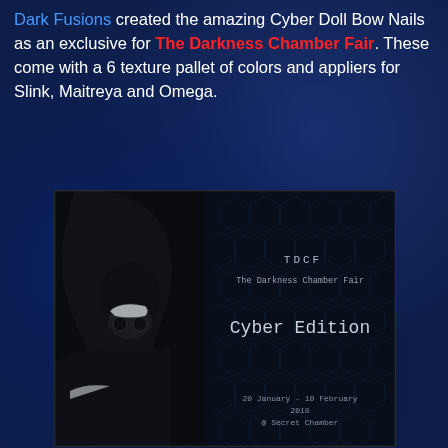Dark Fusions created the amazing Cyber Doll Bow Nails as an exclusive for The Darkness Chamber Fair. These come with a 6 texture pallet of colors and appliers for Slink, Maitreya and Omega.
[Figure (illustration): Event promotional image for The Darkness Chamber Fair - Cyber Edition. Shows a dark hooded masked figure on the left half against a black background, and on the right half a dark hexagonal pattern background with text: TDCF, The Darkness Chamber Fair, Cyber Edition, 20 January - 10 February 2018, @ Secret Chamber.]